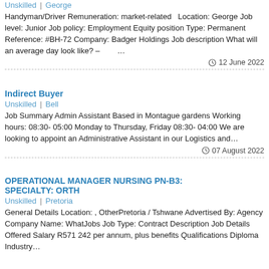Unskilled | George
Handyman/Driver Remuneration: market-related  Location: George Job level: Junior Job policy: Employment Equity position Type: Permanent Reference: #BH-72 Company: Badger Holdings Job description What will an average day look like? –        …
12 June 2022
Indirect Buyer
Unskilled | Bell
Job Summary Admin Assistant Based in Montague gardens Working hours: 08:30- 05:00 Monday to Thursday, Friday 08:30- 04:00 We are looking to appoint an Administrative Assistant in our Logistics and…
07 August 2022
OPERATIONAL MANAGER NURSING PN-B3: SPECIALTY: ORTH
Unskilled | Pretoria
General Details Location: , OtherPretoria / Tshwane Advertised By: Agency Company Name: WhatJobs Job Type: Contract Description Job Details Offered Salary R571 242 per annum, plus benefits Qualifications Diploma Industry…